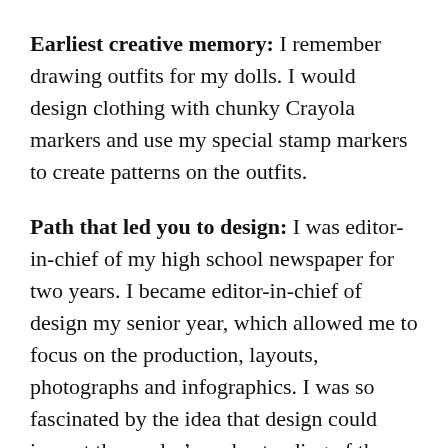Earliest creative memory: I remember drawing outfits for my dolls. I would design clothing with chunky Crayola markers and use my special stamp markers to create patterns on the outfits.
Path that led you to design: I was editor-in-chief of my high school newspaper for two years. I became editor-in-chief of design my senior year, which allowed me to focus on the production, layouts, photographs and infographics. I was so fascinated by the idea that design could impact the reader’s understanding of the content. That’s how I realized my passion lay in graphic design and not journalism.